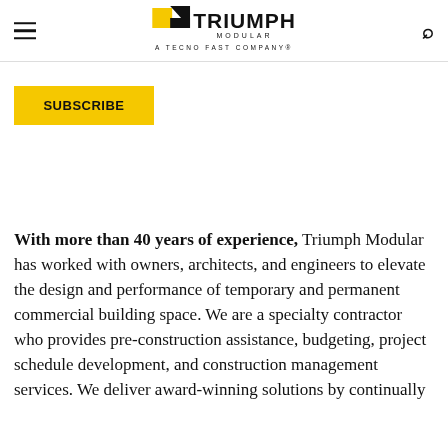Triumph Modular — A Tecno Fast Company
SUBSCRIBE
With more than 40 years of experience, Triumph Modular has worked with owners, architects, and engineers to elevate the design and performance of temporary and permanent commercial building space. We are a specialty contractor who provides pre-construction assistance, budgeting, project schedule development, and construction management services. We deliver award-winning solutions by continually